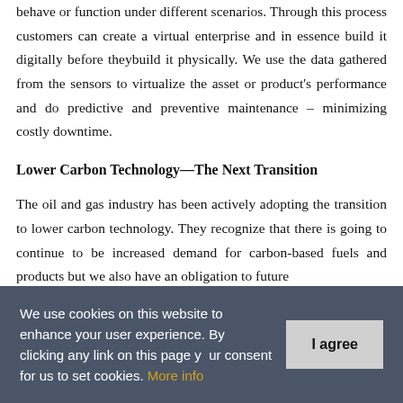behave or function under different scenarios. Through this process customers can create a virtual enterprise and in essence build it digitally before theybuild it physically. We use the data gathered from the sensors to virtualize the asset or product's performance and do predictive and preventive maintenance – minimizing costly downtime.
Lower Carbon Technology—The Next Transition
The oil and gas industry has been actively adopting the transition to lower carbon technology. They recognize that there is going to continue to be increased demand for carbon-based fuels and products but we also have an obligation to future
We use cookies on this website to enhance your user experience. By clicking any link on this page you give your consent for us to set cookies. More info